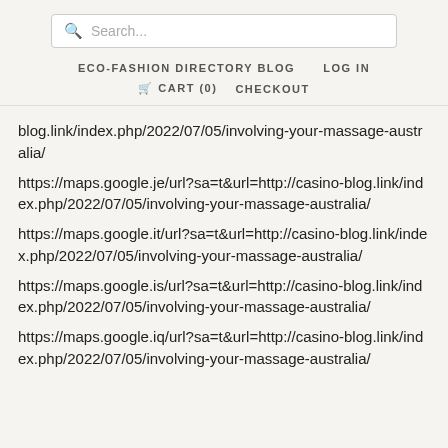Search... ECO-FASHION DIRECTORY BLOG LOG IN CART (0) CHECKOUT
blog.link/index.php/2022/07/05/involving-your-massage-australia/
https://maps.google.je/url?sa=t&url=http://casino-blog.link/index.php/2022/07/05/involving-your-massage-australia/
https://maps.google.it/url?sa=t&url=http://casino-blog.link/index.php/2022/07/05/involving-your-massage-australia/
https://maps.google.is/url?sa=t&url=http://casino-blog.link/index.php/2022/07/05/involving-your-massage-australia/
https://maps.google.iq/url?sa=t&url=http://casino-blog.link/index.php/2022/07/05/involving-your-massage-australia/